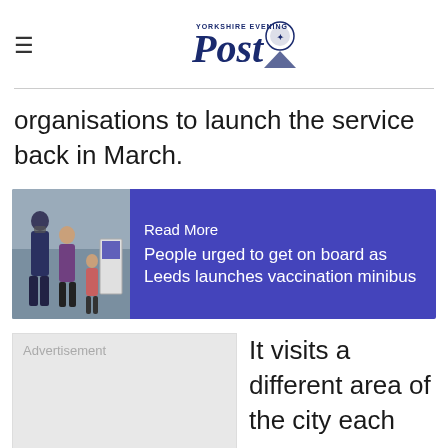Yorkshire Evening Post
organisations to launch the service back in March.
[Figure (other): Read More card with photo of people near vaccination sign and blue panel reading: Read More / People urged to get on board as Leeds launches vaccination minibus]
It visits a different area of the city each